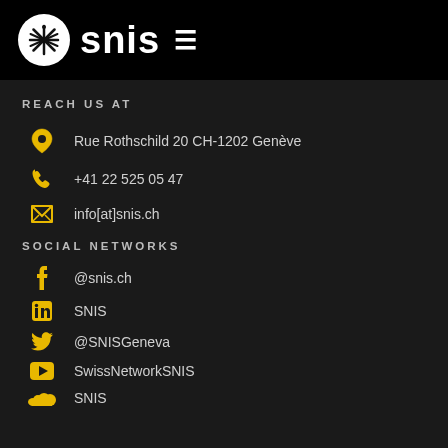snis
REACH US AT
Rue Rothschild 20 CH-1202 Genève
+41 22 525 05 47
info[at]snis.ch
SOCIAL NETWORKS
@snis.ch
SNIS
@SNISGeneva
SwissNetworkSNIS
SNIS